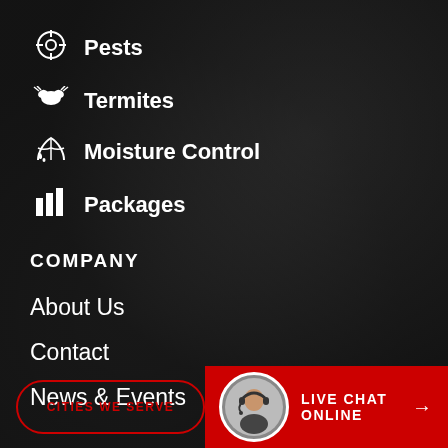Pests
Termites
Moisture Control
Packages
COMPANY
About Us
Contact
News & Events
CITIES WE SERVE
LIVE CHAT ONLINE →